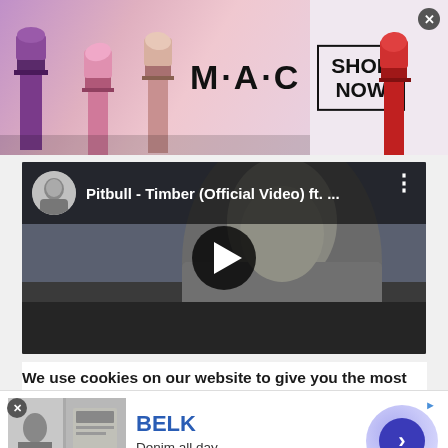[Figure (screenshot): MAC cosmetics advertisement banner with lipsticks on left side, MAC logo wordmark in center, SHOP NOW box on right, and close button]
[Figure (screenshot): YouTube video thumbnail for Pitbull - Timber (Official Video) ft. ... with channel avatar, title bar, play button in center, and vertical dots menu]
We use cookies on our website to give you the most relevant experience by remembering your preferences and repeat visits. By clicking “Accept All”, you consent to the use of ALL
[Figure (screenshot): Belk advertisement banner with BELK brand name in blue, tagline 'Denim all day.', URL www.belk.com, fashion image thumbnails on left, purple/blue circular arrow button on right, close X and AdChoices indicator]